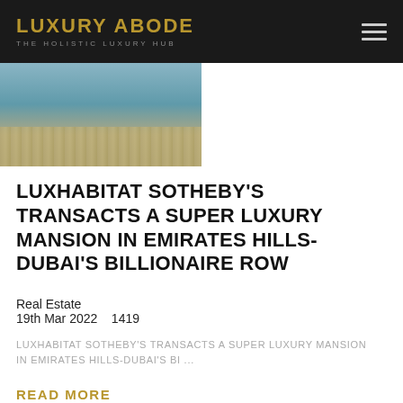LUXURY ABODE — THE HOLISTIC LUXURY HUB
[Figure (photo): Swimming pool area of a luxury mansion, showing blue-green water and wooden decking]
LUXHABITAT SOTHEBY'S TRANSACTS A SUPER LUXURY MANSION IN EMIRATES HILLS- DUBAI'S BILLIONAIRE ROW
Real Estate
19th Mar 2022    1419
LUXHABITAT SOTHEBY'S TRANSACTS A SUPER LUXURY MANSION IN EMIRATES HILLS-DUBAI'S BI ...
READ MORE